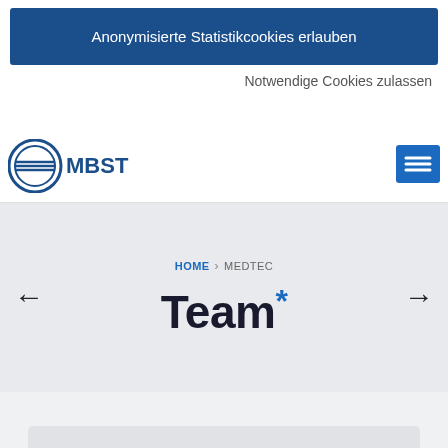Anonymisierte Statistikcookies erlauben
Notwendige Cookies zulassen
[Figure (logo): MBST logo with blue circular emblem and text MBST]
[Figure (other): Hamburger menu button (dark blue square with three white lines)]
HOME › MEDTEC
Team*